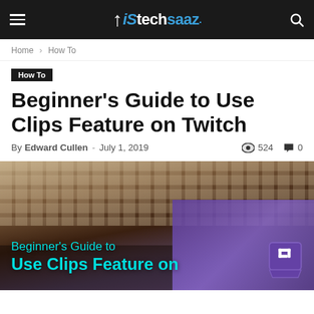techsaaz
Home › How To
How To
Beginner's Guide to Use Clips Feature on Twitch
By Edward Cullen - July 1, 2019 · 524 views · 0 comments
[Figure (photo): Keyboard and phone on a desk with cyan text overlay: Beginner's Guide to Use Clips Feature on Twitch, with Twitch logo]